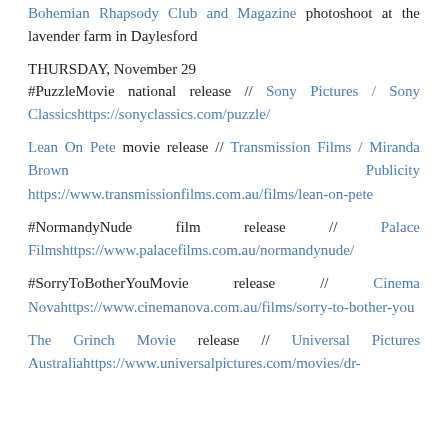Bohemian Rhapsody Club and Magazine photoshoot at the lavender farm in Daylesford
THURSDAY, November 29
#PuzzleMovie national release // Sony Pictures / Sony Classicshttps://sonyclassics.com/puzzle/
Lean On Pete movie release // Transmission Films / Miranda Brown Publicity https://www.transmissionfilms.com.au/films/lean-on-pete
#NormandyNude film release // Palace Filmshttps://www.palacefilms.com.au/normandynude/
#SorryToBotherYouMovie release // Cinema Novahttps://www.cinemanova.com.au/films/sorry-to-bother-you
The Grinch Movie release // Universal Pictures Australiahttps://www.universalpictures.com/movies/dr-